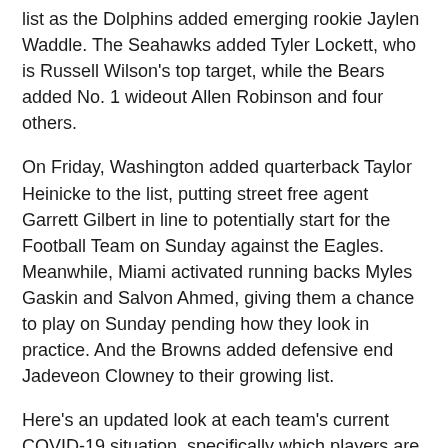list as the Dolphins added emerging rookie Jaylen Waddle. The Seahawks added Tyler Lockett, who is Russell Wilson's top target, while the Bears added No. 1 wideout Allen Robinson and four others.
On Friday, Washington added quarterback Taylor Heinicke to the list, putting street free agent Garrett Gilbert in line to potentially start for the Football Team on Sunday against the Eagles. Meanwhile, Miami activated running backs Myles Gaskin and Salvon Ahmed, giving them a chance to play on Sunday pending how they look in practice. And the Browns added defensive end Jadeveon Clowney to their growing list.
Here's an updated look at each team's current COVID-19 situation, specifically which players are on COVID reserve:
(NOTE: This list does not include players on practice squad or injured reserve.)